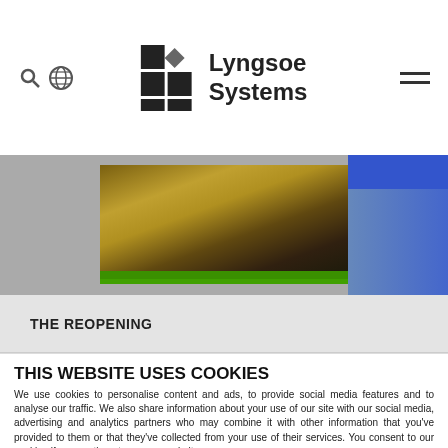Lyngsoe Systems
[Figure (screenshot): Website hero image showing packages on a conveyor belt, with a blue highlighted section in the top right corner]
THE REOPENING
THIS WEBSITE USES COOKIES
We use cookies to personalise content and ads, to provide social media features and to analyse our traffic. We also share information about your use of our site with our social media, advertising and analytics partners who may combine it with other information that you've provided to them or that they've collected from your use of their services. You consent to our cookies if you continue to use our website.
OK
Necessary
Preferences
Statistics
Marketing
Show details